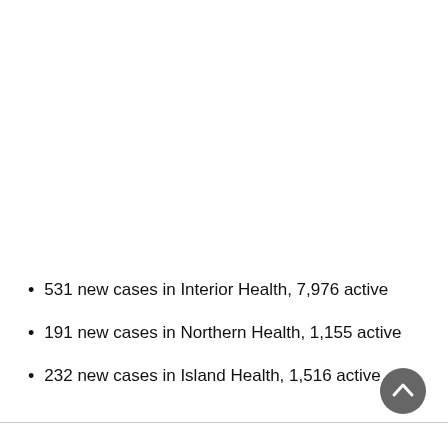531 new cases in Interior Health, 7,976 active
191 new cases in Northern Health, 1,155 active
232 new cases in Island Health, 1,516 active